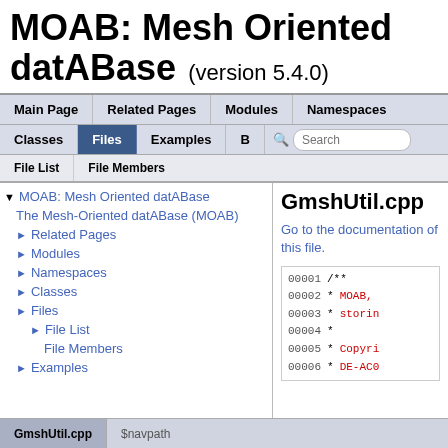MOAB: Mesh Oriented datABase (version 5.4.0)
Main Page | Related Pages | Modules | Namespaces | Classes | Files | Examples | B | Search
File List | File Members
▼ MOAB: Mesh Oriented datABase
The Mesh-Oriented datABase (MOAB)
► Related Pages
► Modules
► Namespaces
► Classes
► Files
► File List
File Members
► Examples
GmshUtil.cpp
Go to the documentation of this file.
00001 /**
00002  * MOAB,
00003  * storin
00004  *
00005  * Copyri
00006  * DE-AC0
GmshUtil.cpp | $navpath